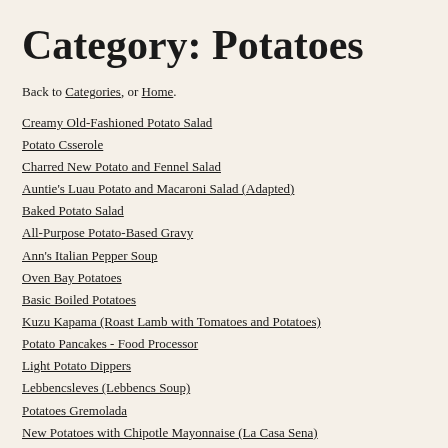Category: Potatoes
Back to Categories, or Home.
Creamy Old-Fashioned Potato Salad
Potato Csserole
Charred New Potato and Fennel Salad
Auntie's Luau Potato and Macaroni Salad (Adapted)
Baked Potato Salad
All-Purpose Potato-Based Gravy
Ann's Italian Pepper Soup
Oven Bay Potatoes
Basic Boiled Potatoes
Kuzu Kapama (Roast Lamb with Tomatoes and Potatoes)
Potato Pancakes - Food Processor
Light Potato Dippers
Lebbencsleves (Lebbencs Soup)
Potatoes Gremolada
New Potatoes with Chipotle Mayonnaise (La Casa Sena)
Potato Phoenix Nest